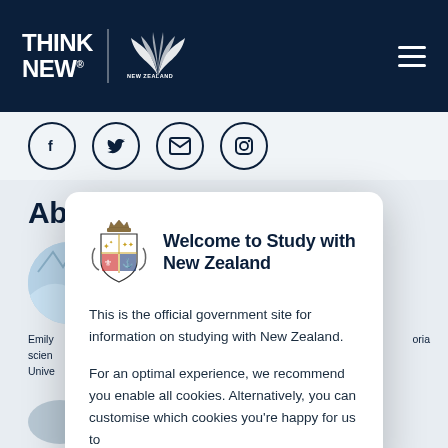THINK NEW — New Zealand Education
[Figure (screenshot): Social media icons row: Facebook, Twitter, Email, Instagram — circular dark-outlined icons on light background]
Abo
[Figure (photo): Circular photo thumbnail, mountain/sky scene]
Emily scien Unive oria
Welcome to Study with New Zealand
This is the official government site for information on studying with New Zealand.
For an optimal experience, we recommend you enable all cookies. Alternatively, you can customise which cookies you're happy for us to